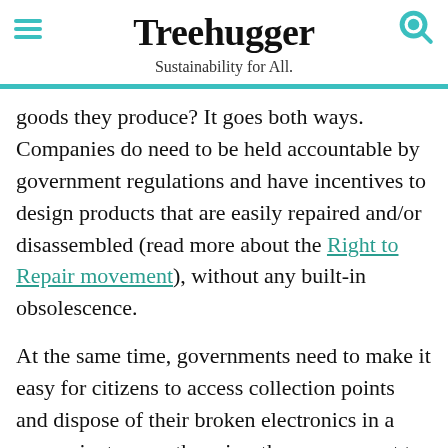Treehugger — Sustainability for All.
goods they produce? It goes both ways. Companies do need to be held accountable by government regulations and have incentives to design products that are easily repaired and/or disassembled (read more about the Right to Repair movement), without any built-in obsolescence.
At the same time, governments need to make it easy for citizens to access collection points and dispose of their broken electronics in a convenient way, otherwise, they may revert to the easiest option, which is the landfill. There should also be campaigns to prolong the lifespan
[Figure (other): Dotdash Meredith advertisement banner: 'We help people find answers, solve problems and get inspired.' with Dotdash Meredith logo]